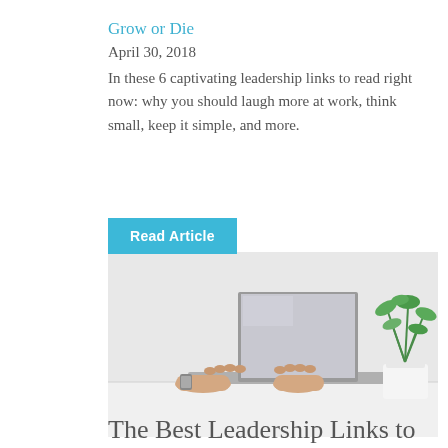Grow or Die
April 30, 2018
In these 6 captivating leadership links to read right now: why you should laugh more at work, think small, keep it simple, and more.
Read Article
[Figure (photo): Person typing on a laptop at a desk with a small potted green plant on the right side, against a light grey background.]
The Best Leadership Links to